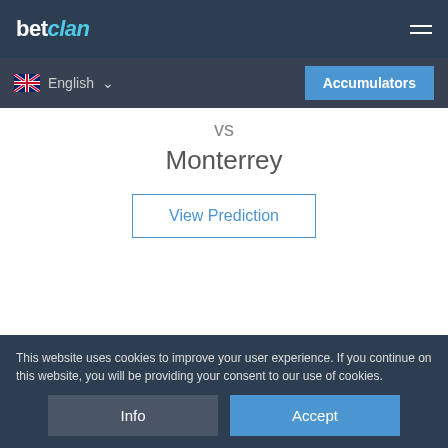betclan
English  Accumulators
vs
Monterrey
View Prediction
Mexico Apertura
Time: 03:05   Date: 2022-08-24
Querétaro
This website uses cookies to improve your user experience. If you continue on this website, you will be providing your consent to our use of cookies.
Info   Accept